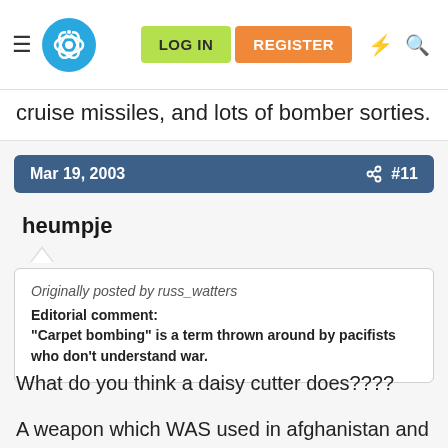LOG IN | REGISTER
cruise missiles, and lots of bomber sorties.
Mar 19, 2003  #11
heumpje
Originally posted by russ_watters
Editorial comment:
"Carpet bombing" is a term thrown around by pacifists who don't understand war.
What do you think a daisy cutter does????
A weapon which WAS used in afghanistan and